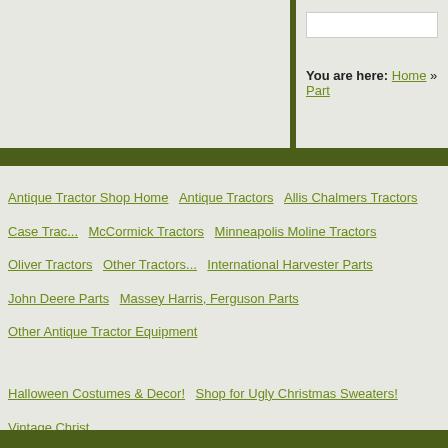You are here: Home » Part...
Antique Tractor Shop Home | Antique Tractors | Allis Chalmers Tractors | Case Trac... | McCormick Tractors | Minneapolis Moline Tractors | Oliver Tractors | Other Tractors... | International Harvester Parts | John Deere Parts | Massey Harris, Ferguson Parts | | Other Antique Tractor Equipment
Halloween Costumes & Decor! | Shop for Ugly Christmas Sweaters! | Vintage Christ...
Other Sites of Interest: Tractor Part Shop | Mower Parts & Accessories | Vintage A... | Snowmobile Parts | Engine Bargains | Woodworking Tool Bargains | Vintage Wood T... | Fly-Tying Supplies | Hunting & Camping Knives | Tarpon Fishing | Fishing Knife Wor... | Poultry Raising Supplies | Western & English Saddles | Surveying Equipment Bargain... | Commercial Painting Equipment | Nock It Archery Supplies | Reloading Bargains | C... | Vintage Railroad Lanterns | Vintage Railroad Lanterns | Railroad Playing Cards | Ba... | Masonic Memorabilia | Shriners Memorabilia | Science & Medicine Antiques | Discou...